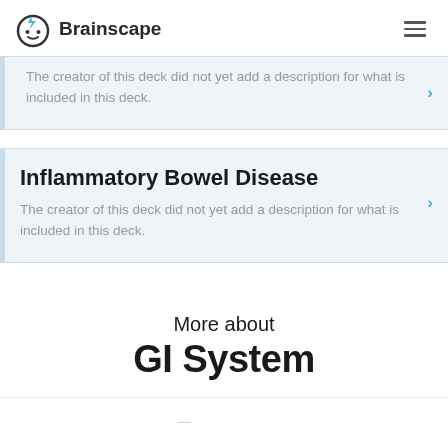Brainscape
The creator of this deck did not yet add a description for what is included in this deck.
Inflammatory Bowel Disease
The creator of this deck did not yet add a description for what is included in this deck.
More about
GI System